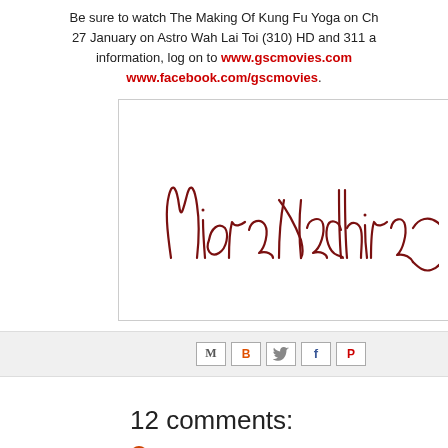Be sure to watch The Making Of Kung Fu Yoga on Ch... 27 January on Astro Wah Lai Toi (310) HD and 311 a... information, log on to www.gscmovies.com www.facebook.com/gscmovies.
[Figure (illustration): Handwritten cursive signature reading 'Miera Nadhirah' in dark red/maroon ink on a white background with a light grey border.]
[Figure (screenshot): Row of social sharing icons: Email (M), Blogger (B), Twitter bird, Facebook (f), Pinterest (P)]
12 comments:
Aini Chan ... 29, 2017, 4:05 PM